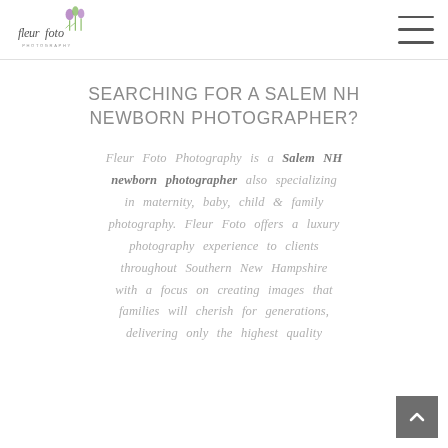fleur foto photography [logo] [hamburger menu]
SEARCHING FOR A SALEM NH NEWBORN PHOTOGRAPHER?
Fleur Foto Photography is a Salem NH newborn photographer also specializing in maternity, baby, child & family photography. Fleur Foto offers a luxury photography experience to clients throughout Southern New Hampshire with a focus on creating images that families will cherish for generations, delivering only the highest quality